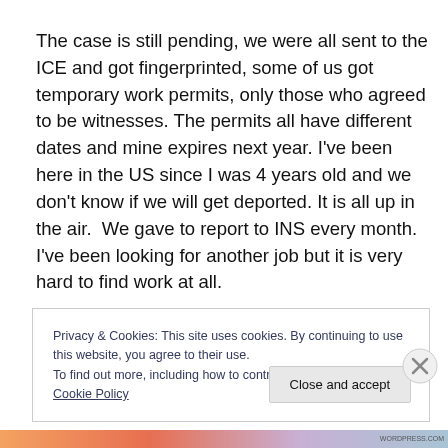The case is still pending, we were all sent to the ICE and got fingerprinted, some of us got temporary work permits, only those who agreed to be witnesses. The permits all have different dates and mine expires next year. I've been here in the US since I was 4 years old and we don't know if we will get deported. It is all up in the air.  We gave to report to INS every month. I've been looking for another job but it is very hard to find work at all.
Privacy & Cookies: This site uses cookies. By continuing to use this website, you agree to their use. To find out more, including how to control cookies, see here: Cookie Policy